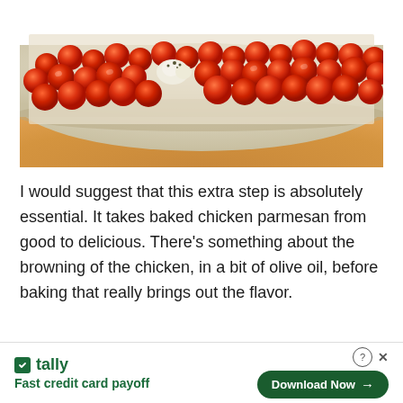[Figure (photo): A baking sheet covered with cherry tomatoes and garlic, photographed from an angle showing the tray on a wooden surface. The tomatoes are red and glistening, with herbs and garlic scattered among them.]
I would suggest that this extra step is absolutely essential. It takes baked chicken parmesan from good to delicious. There’s something about the browning of the chicken, in a bit of olive oil, before baking that really brings out the flavor.
[Figure (screenshot): Advertisement banner for Tally app. Shows Tally logo (green square icon with white mark), brand name 'tally' in green bold text, tagline 'Fast credit card payoff' in green bold text on the left. On the right: a help icon circle, an X close button, and a green pill-shaped 'Download Now →' button.]